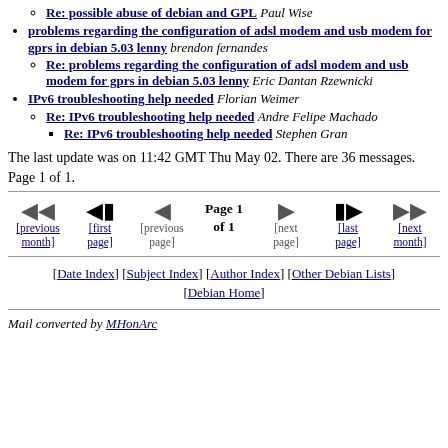Re: possible abuse of debian and GPL Paul Wise
problems regarding the configuration of adsl modem and usb modem for gprs in debian 5.03 lenny brendon fernandes
Re: problems regarding the configuration of adsl modem and usb modem for gprs in debian 5.03 lenny Eric Dantan Rzewnicki
IPv6 troubleshooting help needed Florian Weimer
Re: IPv6 troubleshooting help needed Andre Felipe Machado
Re: IPv6 troubleshooting help needed Stephen Gran
The last update was on 11:42 GMT Thu May 02. There are 36 messages. Page 1 of 1.
Page 1 of 1 navigation with previous month, first page, previous page, next page, last page, next month
[Date Index] [Subject Index] [Author Index] [Other Debian Lists] [Debian Home]
Mail converted by MHonArc